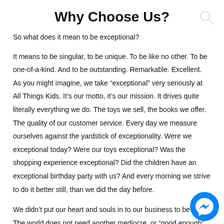Why Choose Us?
So what does it mean to be exceptional?
It means to be singular, to be unique. To be like no other. To be one-of-a-kind. And to be outstanding. Remarkable. Excellent. As you might imagine, we take “exceptional” very seriously at All Things Kids. It’s our motto, it’s our mission. It drives quite literally everything we do. The toys we sell, the books we offer. The quality of our customer service. Every day we measure ourselves against the yardstick of exceptionality. Were we exceptional today? Were our toys exceptional? Was the shopping experience exceptional? Did the children have an exceptional birthday party with us? And every morning we strive to do it better still, than we did the day before.
We didn’t put our heart and souls in to our business to be ‘OK.’ The world does not need another mediocre, or “good enough” store. It’s never been our dream to be another